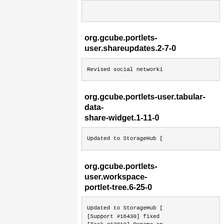org.gcube.portlets-user.shareupdates.2-7-0
Revised social networki
org.gcube.portlets-user.tabular-data-share-widget.1-11-0
Updated to StorageHub [
org.gcube.portlets-user.workspace-portlet-tree.6-25-0
Updated to StorageHub [
[Support #16430] fixed
[Task #12910] Rename an
should be m